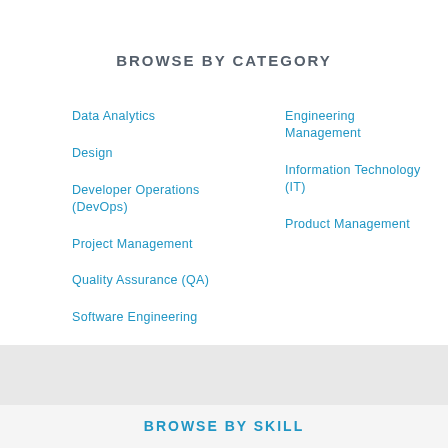BROWSE BY CATEGORY
Data Analytics
Design
Developer Operations (DevOps)
Engineering Management
Information Technology (IT)
Product Management
Project Management
Quality Assurance (QA)
Software Engineering
BROWSE BY SKILL